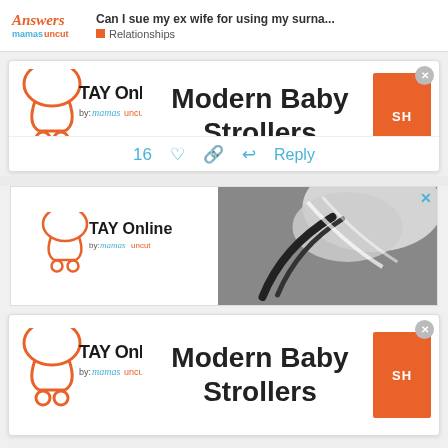Can I sue my ex wife for using my surna... | Relationships | Answers mamasuncut
[Figure (screenshot): TAY Online by mamas advertisement card showing Modern Baby Strollers with logo and orange shop button]
[Figure (screenshot): Inner advertisement banner for TAY Online Modern Baby Strollers with a stroller photo]
[Figure (screenshot): Second TAY Online Modern Baby Strollers advertisement card (partial, bottom of page)]